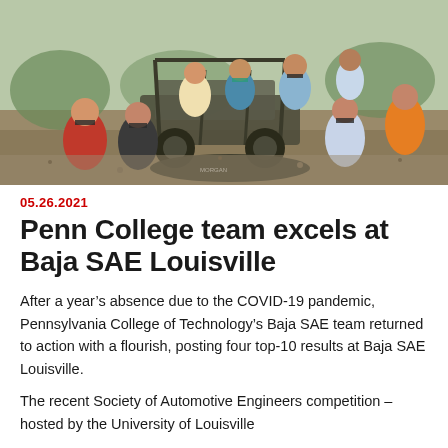[Figure (photo): Group photo of Penn College Baja SAE team members posing outdoors around their off-road vehicle/buggy on a dirt/gravel surface. Team members are wearing face masks. Some are crouching/kneeling in the foreground, others standing in the background.]
05.26.2021
Penn College team excels at Baja SAE Louisville
After a year's absence due to the COVID-19 pandemic, Pennsylvania College of Technology's Baja SAE team returned to action with a flourish, posting four top-10 results at Baja SAE Louisville.
The recent Society of Automotive Engineers competition – hosted by the University of Louisville